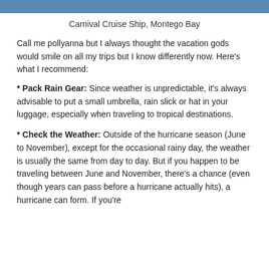[Figure (photo): Blue banner/header image at top of page, appears to be a photo of a Carnival Cruise Ship in Montego Bay]
Carnival Cruise Ship, Montego Bay
Call me pollyanna but I always thought the vacation gods would smile on all my trips but I know differently now. Here's what I recommend:
* Pack Rain Gear: Since weather is unpredictable, it's always advisable to put a small umbrella, rain slick or hat in your luggage, especially when traveling to tropical destinations.
* Check the Weather: Outside of the hurricane season (June to November), except for the occasional rainy day, the weather is usually the same from day to day. But if you happen to be traveling between June and November, there's a chance (even though years can pass before a hurricane actually hits), a hurricane can form. If you're